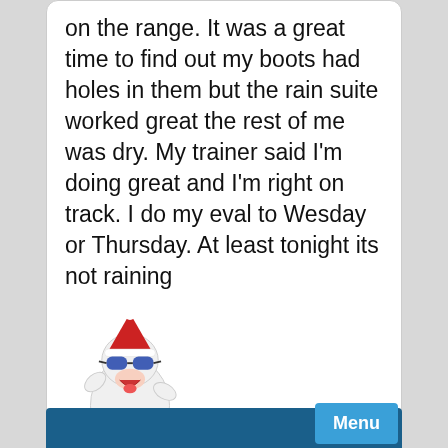on the range. It was a great time to find out my boots had holes in them but the rain suite worked great the rest of me was dry. My trainer said I'm doing great and I'm right on track. I do my eval to Wesday or Thursday. At least tonight its not raining
[Figure (illustration): Cartoon dog character wearing a red Santa hat and blue sunglasses, white fluffy body, laughing with mouth open, standing upright]